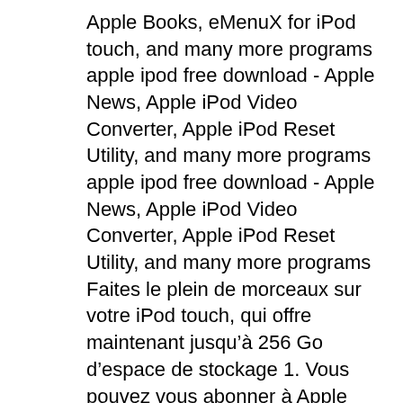Apple Books, eMenuX for iPod touch, and many more programs apple ipod free download - Apple News, Apple iPod Video Converter, Apple iPod Reset Utility, and many more programs
apple ipod free download - Apple News, Apple iPod Video Converter, Apple iPod Reset Utility, and many more programs Faites le plein de morceaux sur votre iPod touch, qui offre maintenant jusqu’à 256 Go d’espace de stockage 1. Vous pouvez vous abonner à Apple Music pour accéder en streaming à 60 millions de morceaux et télécharger ceux que vous préférez. Ou remplir votre iPod touch de vos albums favoris, achetés sur l’iTunes Store.